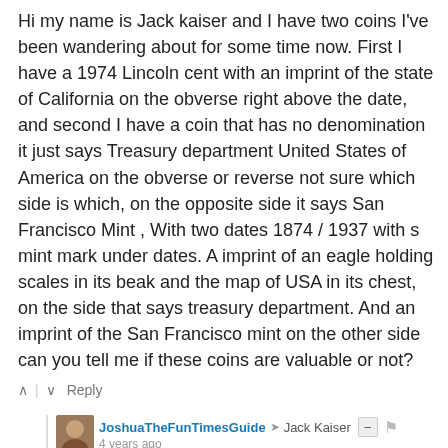Hi my name is Jack kaiser and I have two coins I've been wandering about for some time now. First I have a 1974 Lincoln cent with an imprint of the state of California on the obverse right above the date, and second I have a coin that has no denomination it just says Treasury department United States of America on the obverse or reverse not sure which side is which, on the opposite side it says San Francisco Mint , With two dates 1874 / 1937 with s mint mark under dates. A imprint of an eagle holding scales in its beak and the map of USA in its chest, on the side that says treasury department. And an imprint of the San Francisco mint on the other side can you tell me if these coins are valuable or not?
Reply
JoshuaTheFunTimesGuide → Jack Kaiser  4 years ago
Hi, Jack --
The ...ually a pos...t pop...ny pun...cents
[Figure (logo): SHORE BCN advertisement overlay with teal/cyan background, showing SHORE in large black bold text and BCN in large white bold text, with wave decorations at the bottom]